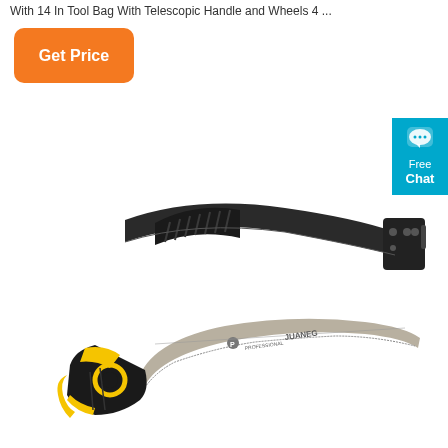With 14 In Tool Bag With Telescopic Handle and Wheels 4 ...
[Figure (photo): Orange rounded rectangle 'Get Price' button]
[Figure (photo): Teal/blue 'Free Chat' badge with speech bubble icon on right edge]
[Figure (photo): Product image showing a curved pruning saw sheath (black plastic) on top, and a Juaneg branded curved pruning hand saw with yellow and black handle on the bottom]